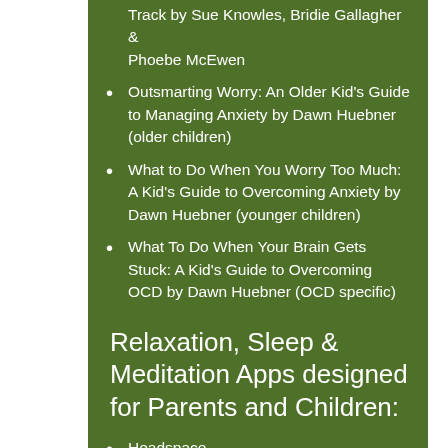Track by Sue Knowles, Bridie Gallagher & Phoebe McEwen
Outsmarting Worry: An Older Kid's Guide to Managing Anxiety by Dawn Huebner (older children)
What to Do When You Worry Too Much: A Kid's Guide to Overcoming Anxiety by Dawn Huebner (younger children)
What To Do When Your Brain Gets Stuck: A Kid's Guide to Overcoming OCD by Dawn Huebner (OCD specific)
Relaxation, Sleep & Meditation Apps designed for Parents and Children:
Headspace
Calm